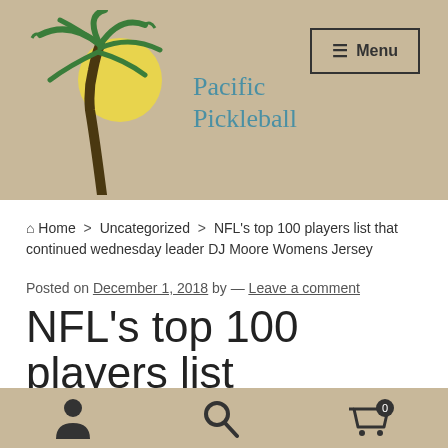[Figure (logo): Pacific Pickleball logo with palm tree and sun illustration, site name in teal/blue serif font]
≡ Menu
Home > Uncategorized > NFL's top 100 players list that continued wednesday leader DJ Moore Womens Jersey
Posted on December 1, 2018 by — Leave a comment
NFL's top 100 players list